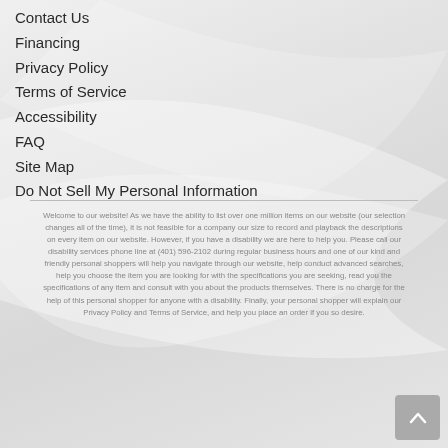Contact Us
Financing
Privacy Policy
Terms of Service
Accessibility
FAQ
Site Map
Do Not Sell My Personal Information
Welcome to our website! As we have the ability to list over one million items on our website (our selection changes all of the time), it is not feasible for a company our size to record and playback the descriptions on every item on our website. However, if you have a disability we are here to help you. Please call our disability services phone line at (401) 596-2102 during regular business hours and one of our kind and friendly personal shoppers will help you navigate through our website, help conduct advanced searches, help you choose the item you are looking for with the specifications you are seeking, read you the specifications of any item and consult with you about the products themselves. There is no charge for the help of this personal shopper for anyone with a disability. Finally, your personal shopper will explain our Privacy Policy and Terms of Service, and help you place an order if you so desire.